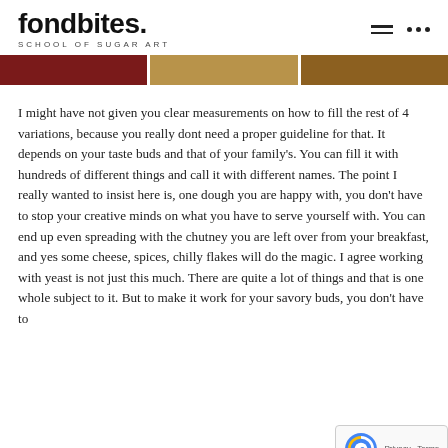fondbites SCHOOL OF SUGAR ART
[Figure (photo): Three cropped food photos shown in a horizontal strip: red/dark food on left, golden food in center, brown food on right.]
I might have not given you clear measurements on how to fill the rest of 4 variations, because you really dont need a proper guideline for that. It depends on your taste buds and that of your family's. You can fill it with hundreds of different things and call it with different names. The point I really wanted to insist here is, one dough you are happy with, you don't have to stop your creative minds on what you have to serve yourself with. You can end up even spreading with the chutney you are left over from your breakfast, and yes some cheese, spices, chilly flakes will do the magic. I agree working with yeast is not just this much. There are quite a lot of things and that is one whole subject to it. But to make it work for your savory buds, you don't have to